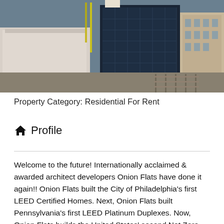[Figure (photo): Aerial view of an urban construction site with a multi-story building under construction, featuring dark blue/black cladding, adjacent historic buildings, and railway tracks visible on the right side.]
Property Category: Residential For Rent
Profile
Welcome to the future! Internationally acclaimed & awarded architect developers Onion Flats have done it again!! Onion Flats built the City of Philadelphia’s first LEED Certified Homes. Next, Onion Flats built Pennsylvania’s first LEED Platinum Duplexes. Now, Onion Flats builds the United States’ second Net Zero Multi Unit apartment building, after they finished the first one in